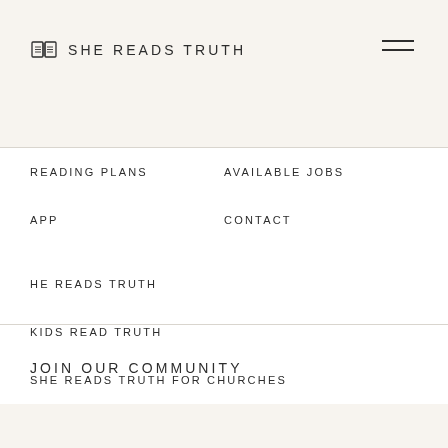SHE READS TRUTH
READING PLANS
AVAILABLE JOBS
APP
CONTACT
HE READS TRUTH
KIDS READ TRUTH
SHE READS TRUTH FOR CHURCHES
JOIN OUR COMMUNITY